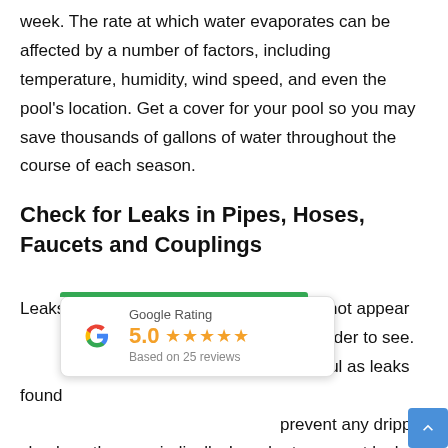week. The rate at which water evaporates can be affected by a number of factors, including temperature, humidity, wind speed, and even the pool's location. Get a cover for your pool so you may save thousands of gallons of water throughout the course of each season.
Check for Leaks in Pipes, Hoses, Faucets and Couplings
Leaks on the exterior of the house might not appear are harder to see. wasteful as leaks found prevent any dripping check on them periodically. In order to prevent leaks,
[Figure (other): Google Rating widget showing 5.0 stars based on 25 reviews, with Google 'G' logo and green top bar]